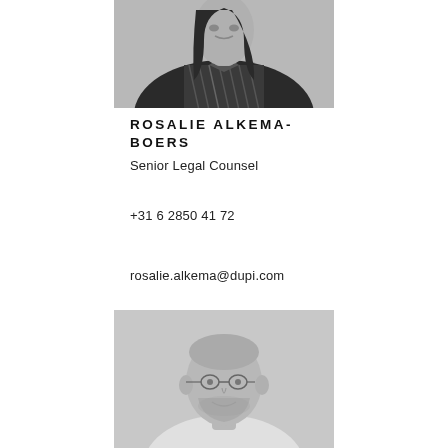[Figure (photo): Black and white headshot photo of Rosalie Alkema-Boers, cropped showing upper body, wearing a houndstooth patterned top and dark blazer, with long dark hair]
ROSALIE ALKEMA-BOERS
Senior Legal Counsel
+31 6 2850 41 72
rosalie.alkema@dupi.com
[Figure (photo): Black and white headshot photo of a bald man with a beard, wearing a light-colored shirt, smiling slightly, shown from shoulders up]